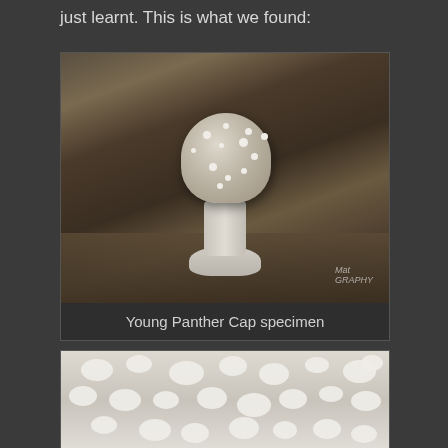just learnt. This is what we found:
[Figure (photo): Close-up photograph of a young Panther Cap mushroom specimen (Amanita pantherina) showing a rounded, white-spotted cap on a white stem with volva base, surrounded by dead leaves and forest floor debris. Watermark reads 'Mat...GRAPHY' in bottom right corner.]
Young Panther Cap specimen
[Figure (photo): Close-up macro photograph of the top of a Panther Cap mushroom cap surface, showing white warty scales/spots on a light brownish-grey surface, photographed from above with shallow depth of field.]